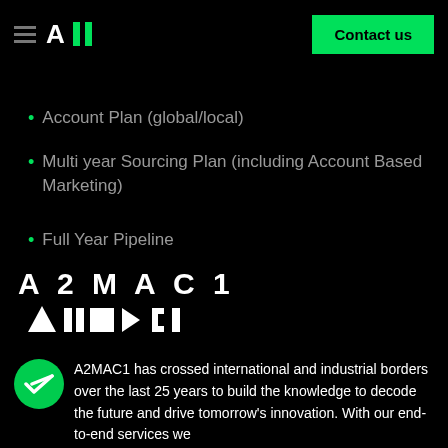A2MAC1 — Contact us
Account Plan (global/local)
Multi year Sourcing Plan (including Account Based Marketing)
Full Year Pipeline
[Figure (logo): A2MAC1 logo with text and geometric icon shapes in white]
A2MAC1 has crossed international and industrial borders over the last 25 years to build the knowledge to decode the future and drive tomorrow's innovation. With our end-to-end services we